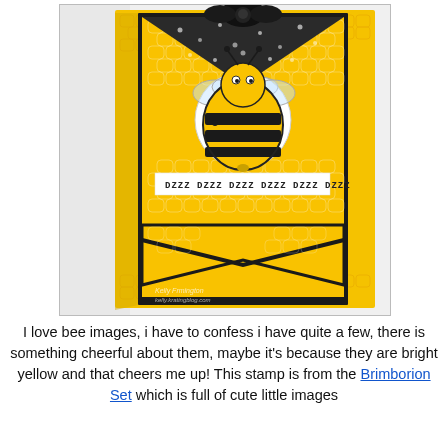[Figure (photo): A handmade greeting card featuring a bright yellow bumble bee on a yellow honeycomb-patterned background, framed with black borders, with a chevron/banner bottom, a black bow at the top, and a stamped text strip reading 'DZZZ DZZZ DZZZ DZZZ DZZZ DZZZ'. The card has a yellow embossed honeycomb outer border and stands upright.]
I love bee images, i have to confess i have quite a few, there is something cheerful about them, maybe it's because they are bright yellow and that cheers me up! This stamp is from the Brimborion Set which is full of cute little images...